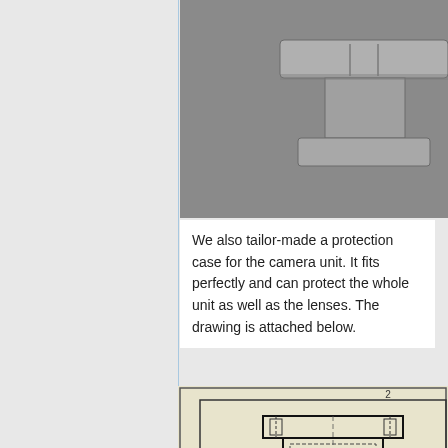[Figure (photo): 3D rendered image of a camera protection case component, grey plastic/metal part with T-shaped cross section visible against grey background]
We also tailor-made a protection case for the camera unit. It fits perfectly and can protect the whole unit as well as the lenses. The drawing is attached below.
[Figure (engineering-diagram): Technical engineering drawing of camera protection case showing front view with dimensions: .94, 1.10, 1.69, and .08 inches. Drawing has title block with number 2 and row B label. Dashed lines show hidden features of the lens cavity.]